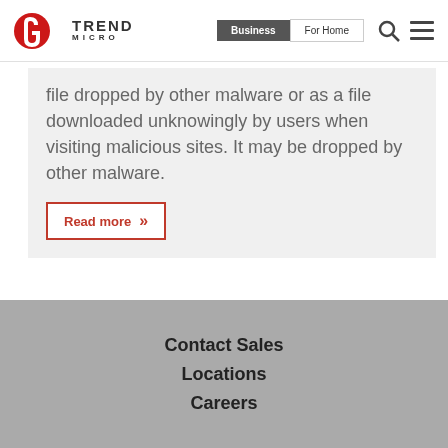[Figure (logo): Trend Micro logo with red circle arrow icon and TREND MICRO text]
Business | For Home (navigation tabs)
file dropped by other malware or as a file downloaded unknowingly by users when visiting malicious sites. It may be dropped by other malware.
Read more »
Contact Sales
Locations
Careers